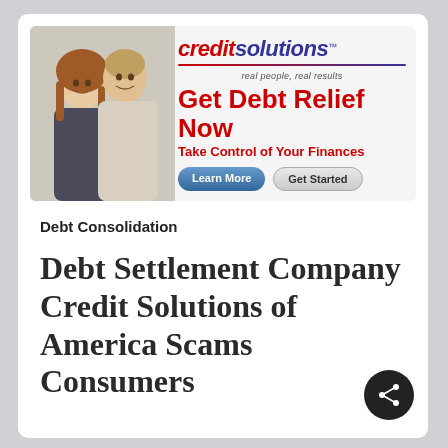[Figure (screenshot): Credit Solutions advertisement banner showing a smiling couple on the left, and on the right the Credit Solutions logo with tagline 'real people, real results', headline 'Get Debt Relief Now', subheadline 'Take Control of Your Finances', and two buttons: 'Learn More' and 'Get Started'.]
Debt Consolidation
Debt Settlement Company Credit Solutions of America Scams Consumers